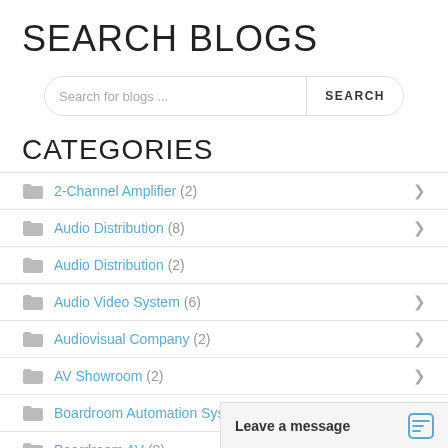SEARCH BLOGS
Search for blogs ...
CATEGORIES
2-Channel Amplifier (2)
Audio Distribution (8)
Audio Distribution (2)
Audio Video System (6)
Audiovisual Company (2)
AV Showroom (2)
Boardroom Automation System (2)
Boardroom AV (8)
Circadian Lighting (4
Leave a message